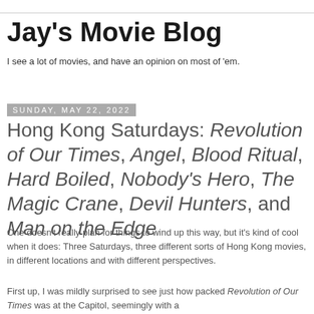Jay's Movie Blog
I see a lot of movies, and have an opinion on most of 'em.
Sunday, May 22, 2022
Hong Kong Saturdays: Revolution of Our Times, Angel, Blood Ritual, Hard Boiled, Nobody's Hero, The Magic Crane, Devil Hunters, and Man on the Edge
One doesn't really plan for things to wind up this way, but it's kind of cool when it does: Three Saturdays, three different sorts of Hong Kong movies, in different locations and with different perspectives.
First up, I was mildly surprised to see just how packed Revolution of Our Times was at the Capitol, seemingly with a